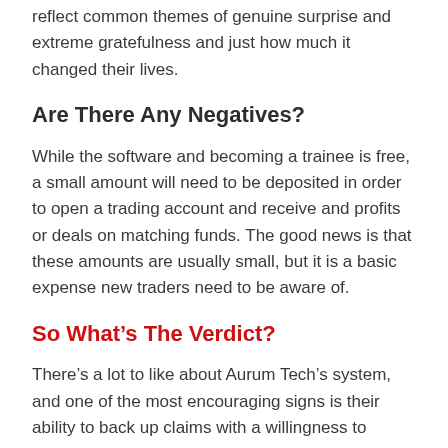reflect common themes of genuine surprise and extreme gratefulness and just how much it changed their lives.
Are There Any Negatives?
While the software and becoming a trainee is free, a small amount will need to be deposited in order to open a trading account and receive and profits or deals on matching funds. The good news is that these amounts are usually small, but it is a basic expense new traders need to be aware of.
So What’s The Verdict?
There’s a lot to like about Aurum Tech’s system, and one of the most encouraging signs is their ability to back up claims with a willingness to